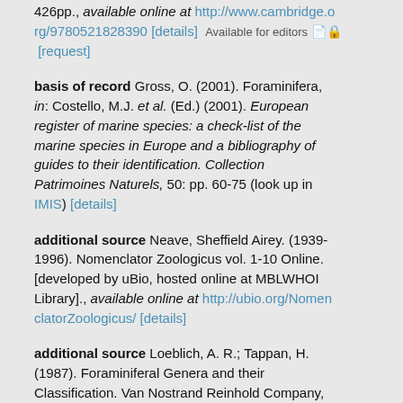426pp., available online at http://www.cambridge.org/9780521828390 [details] Available for editors 🔒 [request]
basis of record Gross, O. (2001). Foraminifera, in: Costello, M.J. et al. (Ed.) (2001). European register of marine species: a check-list of the marine species in Europe and a bibliography of guides to their identification. Collection Patrimoines Naturels, 50: pp. 60-75 (look up in IMIS) [details]
additional source Neave, Sheffield Airey. (1939-1996). Nomenclator Zoologicus vol. 1-10 Online. [developed by uBio, hosted online at MBLWHOI Library]., available online at http://ubio.org/NomenclatorZoologicus/ [details]
additional source Loeblich, A. R.; Tappan, H. (1987). Foraminiferal Genera and their Classification. Van Nostrand Reinhold Company, New York. 970pp., available online at https://books.google.pt/books?id=n_BgCOAAQBA